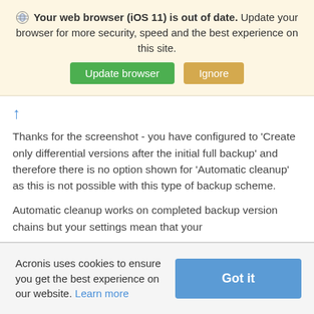[Figure (screenshot): Browser update notification banner with globe icon, bold warning text 'Your web browser (iOS 11) is out of date.' followed by normal text 'Update your browser for more security, speed and the best experience on this site.' with two buttons: green 'Update browser' and tan/orange 'Ignore']
Thanks for the screenshot - you have configured to 'Create only differential versions after the initial full backup' and therefore there is no option shown for 'Automatic cleanup' as this is not possible with this type of backup scheme.
Automatic cleanup works on completed backup version chains but your settings mean that your
Acronis uses cookies to ensure you get the best experience on our website. Learn more